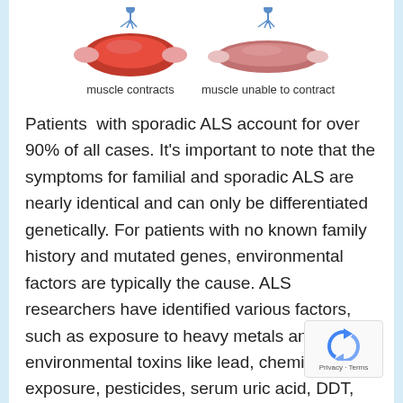[Figure (illustration): Two muscle illustrations side by side: left shows a normal muscle (darker red, contracting) with a motor neuron attached; right shows an affected muscle (lighter red/pink, unable to contract) with a motor neuron attached.]
muscle contracts     muscle unable to contract
Patients with sporadic ALS account for over 90% of all cases. It's important to note that the symptoms for familial and sporadic ALS are nearly identical and can only be differentiated genetically. For patients with no known family history and mutated genes, environmental factors are typically the cause. ALS researchers have identified various factors, such as exposure to heavy metals and environmental toxins like lead, chemical exposure, pesticides, serum uric acid, DDT, organochlorine, dieldrin, and toxaphene which are known foggy brain causes for damage to motor neurons, motor neuron death and acute injuries to the central nervous system.